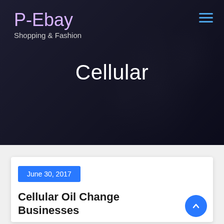P-Ebay
Shopping & Fashion
Cellular
June 30, 2017
Cellular Oil Change Businesses